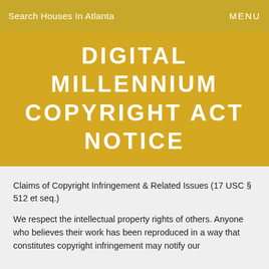Search Houses In Atlanta   MENU
DIGITAL MILLENNIUM COPYRIGHT ACT NOTICE
Claims of Copyright Infringement & Related Issues (17 USC § 512 et seq.)
We respect the intellectual property rights of others. Anyone who believes their work has been reproduced in a way that constitutes copyright infringement may notify our